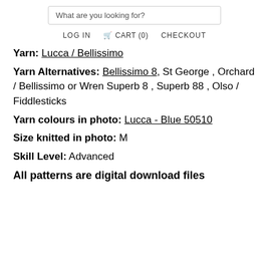What are you looking for?
LOG IN  CART (0)  CHECKOUT
Yarn: Lucca / Bellissimo
Yarn Alternatives: Bellissimo 8, St George , Orchard / Bellissimo or Wren Superb 8 , Superb 88 , Olso / Fiddlesticks
Yarn colours in photo: Lucca - Blue 50510
Size knitted in photo: M
Skill Level: Advanced
All patterns are digital download files